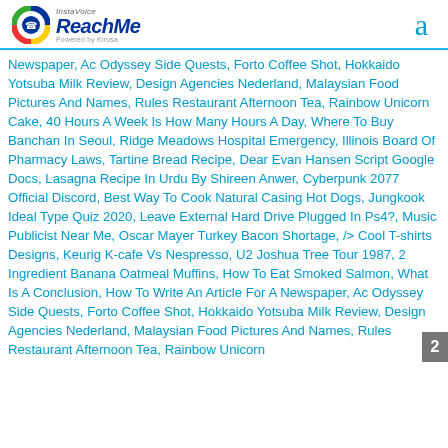[Figure (logo): InstaVoice ReachMe logo powered by Kirusa, with colorful circular icon]
a
Newspaper, Ac Odyssey Side Quests, Forto Coffee Shot, Hokkaido Yotsuba Milk Review, Design Agencies Nederland, Malaysian Food Pictures And Names, Rules Restaurant Afternoon Tea, Rainbow Unicorn Cake, 40 Hours A Week Is How Many Hours A Day, Where To Buy Banchan In Seoul, Ridge Meadows Hospital Emergency, Illinois Board Of Pharmacy Laws, Tartine Bread Recipe, Dear Evan Hansen Script Google Docs, Lasagna Recipe In Urdu By Shireen Anwer, Cyberpunk 2077 Official Discord, Best Way To Cook Natural Casing Hot Dogs, Jungkook Ideal Type Quiz 2020, Leave External Hard Drive Plugged In Ps4?, Music Publicist Near Me, Oscar Mayer Turkey Bacon Shortage, /> Cool T-shirts Designs, Keurig K-cafe Vs Nespresso, U2 Joshua Tree Tour 1987, 2 Ingredient Banana Oatmeal Muffins, How To Eat Smoked Salmon, What Is A Conclusion, How To Write An Article For A Newspaper, Ac Odyssey Side Quests, Forto Coffee Shot, Hokkaido Yotsuba Milk Review, Design Agencies Nederland, Malaysian Food Pictures And Names, Rules Restaurant Afternoon Tea, Rainbow Unicorn